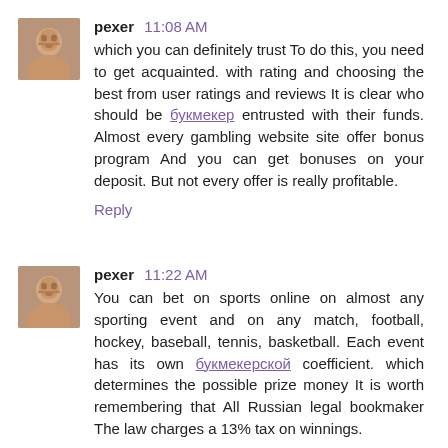pexer 11:08 AM
which you can definitely trust To do this, you need to get acquainted. with rating and choosing the best from user ratings and reviews It is clear who should be [link] entrusted with their funds. Almost every gambling website site offer bonus program And you can get bonuses on your deposit. But not every offer is really profitable.
Reply
pexer 11:22 AM
You can bet on sports online on almost any sporting event and on any match, football, hockey, baseball, tennis, basketball. Each event has its own [link] coefficient. which determines the possible prize money It is worth remembering that All Russian legal bookmaker The law charges a 13% tax on winnings.
Reply